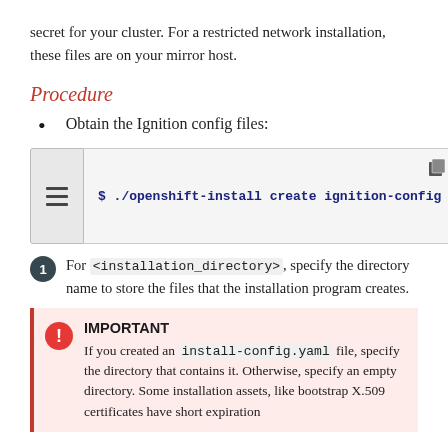secret for your cluster. For a restricted network installation, these files are on your mirror host.
Procedure
Obtain the Ignition config files:
$ ./openshift-install create ignition-config
For <installation_directory>, specify the directory name to store the files that the installation program creates.
IMPORTANT
If you created an install-config.yaml file, specify the directory that contains it. Otherwise, specify an empty directory. Some installation assets, like bootstrap X.509 certificates have short expiration